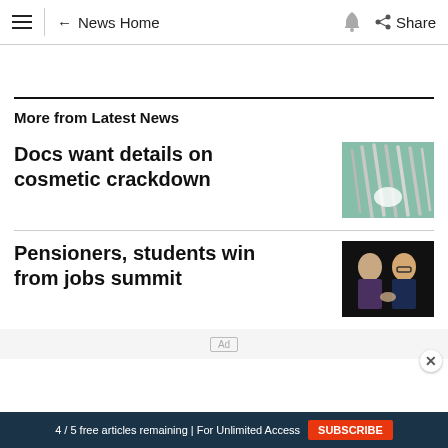≡  ← News Home  🔔  Share
More from Latest News
Docs want details on cosmetic crackdown
[Figure (photo): Surgical instruments on a green surgical drape]
Pensioners, students win from jobs summit
[Figure (photo): Two men in suits clapping on a dark background]
4 / 5 free articles remaining | For Unlimited Access  SUBSCRIBE